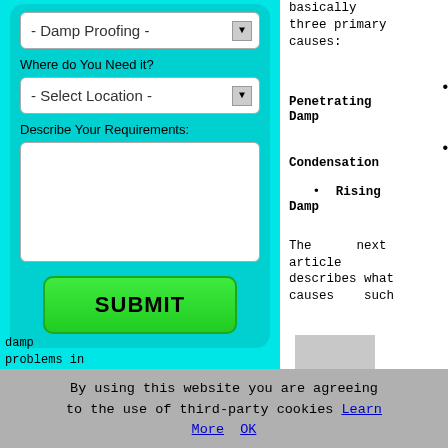- Damp Proofing -
Where do You Need it?
- Select Location -
Describe Your Requirements:
SUBMIT
basically three primary causes:
Penetrating Damp
Condensation
Rising Damp
The next article describes what causes such
damp problems in Matlock
By using this website you are agreeing to the use of third-party cookies Learn More OK